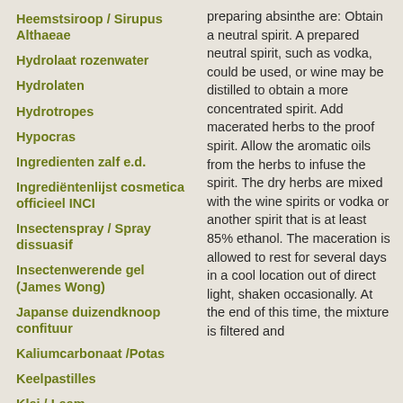Heemstsiroop / Sirupus Althaeae
Hydrolaat rozenwater
Hydrolaten
Hydrotropes
Hypocras
Ingredienten zalf e.d.
Ingrediëntenlijst cosmetica officieel INCI
Insectenspray / Spray dissuasif
Insectenwerende gel (James Wong)
Japanse duizendknoop confituur
Kaliumcarbonaat /Potas
Keelpastilles
Klei / Leem
Kokosolie-kruidenmaceraat
Krampwerende thee / Carminativa
preparing absinthe are: Obtain a neutral spirit. A prepared neutral spirit, such as vodka, could be used, or wine may be distilled to obtain a more concentrated spirit. Add macerated herbs to the proof spirit. Allow the aromatic oils from the herbs to infuse the spirit. The dry herbs are mixed with the wine spirits or vodka or another spirit that is at least 85% ethanol. The maceration is allowed to rest for several days in a cool location out of direct light, shaken occasionally. At the end of this time, the mixture is filtered and ...